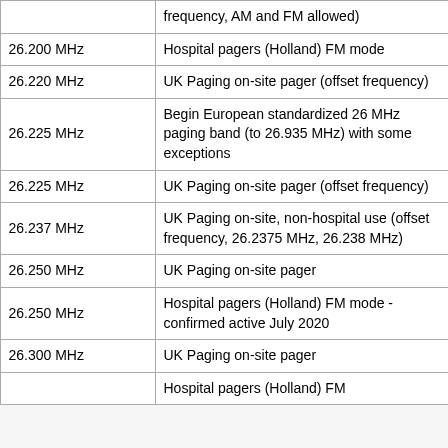| Frequency | Description |
| --- | --- |
|  | frequency, AM and FM allowed) |
| 26.200 MHz | Hospital pagers (Holland) FM mode |
| 26.220 MHz | UK Paging on-site pager (offset frequency) |
| 26.225 MHz | Begin European standardized 26 MHz paging band (to 26.935 MHz) with some exceptions |
| 26.225 MHz | UK Paging on-site pager (offset frequency) |
| 26.237 MHz | UK Paging on-site, non-hospital use (offset frequency, 26.2375 MHz, 26.238 MHz) |
| 26.250 MHz | UK Paging on-site pager |
| 26.250 MHz | Hospital pagers (Holland) FM mode - confirmed active July 2020 |
| 26.300 MHz | UK Paging on-site pager |
|  | Hospital pagers (Holland) FM |